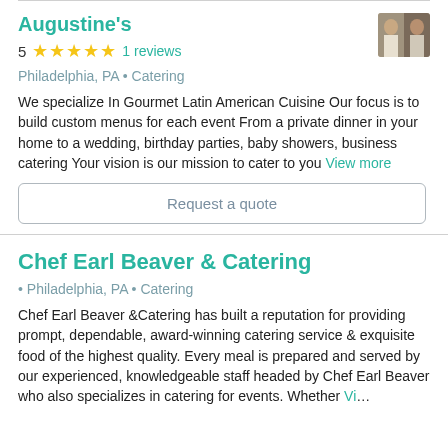Augustine's
5  ★★★★★  1 reviews
Philadelphia, PA • Catering
We specialize In Gourmet Latin American Cuisine Our focus is to build custom menus for each event From a private dinner in your home to a wedding, birthday parties, baby showers, business catering Your vision is our mission to cater to you View more
Request a quote
Chef Earl Beaver & Catering
• Philadelphia, PA • Catering
Chef Earl Beaver &Catering has built a reputation for providing prompt, dependable, award-winning catering service & exquisite food of the highest quality. Every meal is prepared and served by our experienced, knowledgeable staff headed by Chef Earl Beaver who also specializes in catering for events. Whether Vi...